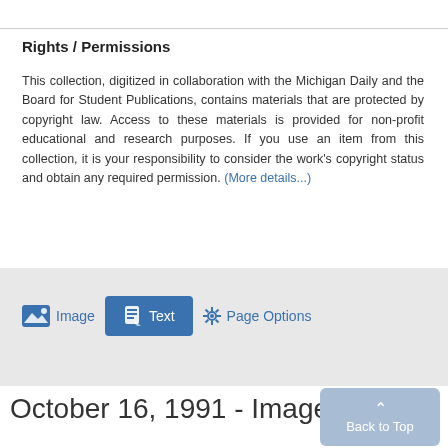Rights / Permissions
This collection, digitized in collaboration with the Michigan Daily and the Board for Student Publications, contains materials that are protected by copyright law. Access to these materials is provided for non-profit educational and research purposes. If you use an item from this collection, it is your responsibility to consider the work's copyright status and obtain any required permission. (More details...)
Image   Text   Page Options
October 16, 1991 - Image 2